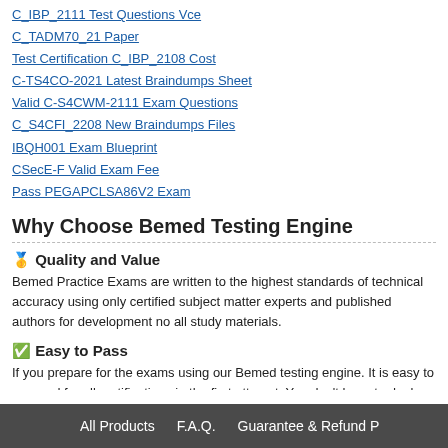C_IBP_2111 Test Questions Vce
C_TADM70_21 Paper
Test Certification C_IBP_2108 Cost
C-TS4CO-2021 Latest Braindumps Sheet
Valid C-S4CWM-2111 Exam Questions
C_S4CFI_2208 New Braindumps Files
IBQH001 Exam Blueprint
CSecE-F Valid Exam Fee
Pass PEGAPCLSA86V2 Exam
Why Choose Bemed Testing Engine
🥇 Quality and Value
Bemed Practice Exams are written to the highest standards of technical accuracy using only certified subject matter experts and published authors for development no all study materials.
✅ Easy to Pass
If you prepare for the exams using our Bemed testing engine. It is easy to succeed for all certifications in the first attempt. You don't have to deal with all dumps or a free torrent / rapidshare all stuff.
All Products    F.A.Q.    Guarantee & Refund P